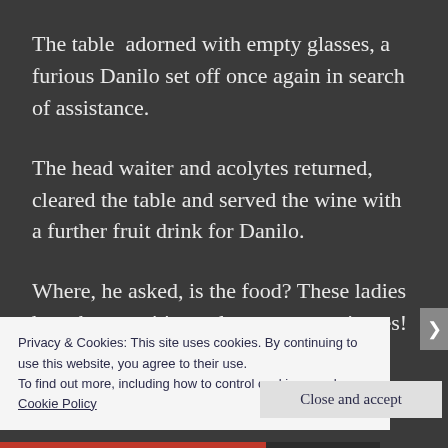The table  adorned with empty glasses, a furious Danilo set off once again in search of assistance.
The head waiter and acolytes returned, cleared the table and served the wine with a further fruit drink for Danilo.
Where, he asked, is the food? These ladies have been waiting at least twenty minutes! Just how
Privacy & Cookies: This site uses cookies. By continuing to use this website, you agree to their use.
To find out more, including how to control cookies, see here:
Cookie Policy
Close and accept